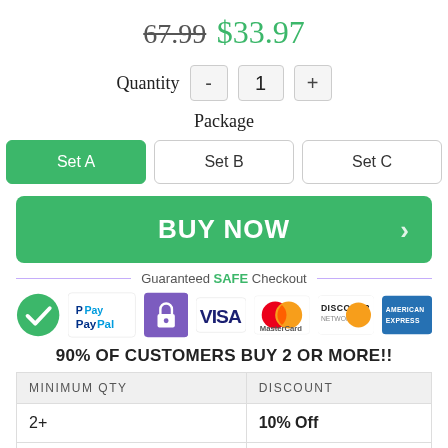67.99  $33.97
Quantity  -  1  +
Package
Set A  Set B  Set C
BUY NOW
Guaranteed SAFE Checkout
[Figure (logo): Payment icons: SSL badge, PayPal, lock/secure badge, VISA, MasterCard, Discover, American Express]
90% OF CUSTOMERS BUY 2 OR MORE!!
| MINIMUM QTY | DISCOUNT |
| --- | --- |
| 2+ | 10% Off |
| 3+ | 14% Off |